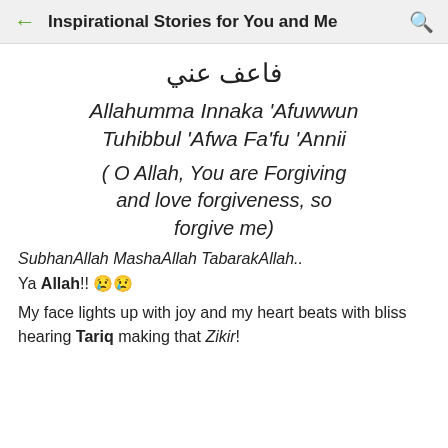Inspirational Stories for You and Me
فاعف عني
Allahumma Innaka 'Afuwwun Tuhibbul 'Afwa Fa'fu 'Annii
( O Allah, You are Forgiving and love forgiveness, so forgive me)
SubhanAllah MashaAllah TabarakAllah..
Ya Allah!! 😢😢
My face lights up with joy and my heart beats with bliss hearing Tariq making that Zikir!